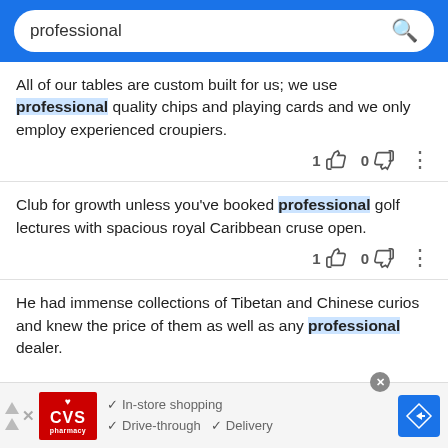professional [search bar]
All of our tables are custom built for us; we use professional quality chips and playing cards and we only employ experienced croupiers. 1 [thumbs up] 0 [thumbs down]
Club for growth unless you've booked professional golf lectures with spacious royal Caribbean cruse open. 1 [thumbs up] 0 [thumbs down]
He had immense collections of Tibetan and Chinese curios and knew the price of them as well as any professional dealer.
[Figure (screenshot): CVS Pharmacy advertisement banner with In-store shopping, Drive-through, and Delivery checkmarks, and a navigation icon]